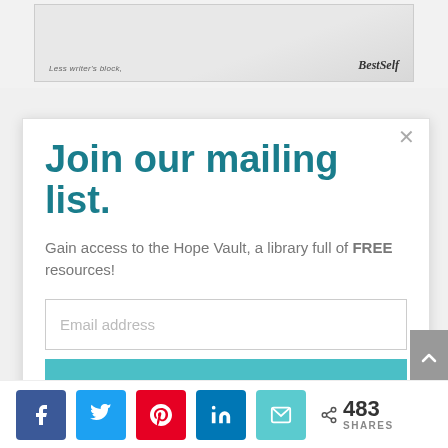[Figure (illustration): Top banner area showing a partially visible book/journal cover with text 'Less writer's block,' on the left and 'BestSelf' logo on the right, on a light gray patterned background.]
Join our mailing list.
Gain access to the Hope Vault, a library full of FREE resources!
Email address (input field placeholder)
JOIN TODAY! (button)
483 SHARES (share bar with Facebook, Twitter, Pinterest, LinkedIn, Email icons)